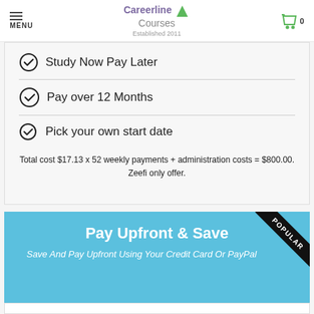MENU | Careerline Courses | Established 2011 | 0
Study Now Pay Later
Pay over 12 Months
Pick your own start date
Total cost $17.13 x 52 weekly payments + administration costs = $800.00. Zeefi only offer.
Pay Upfront & Save
Save And Pay Upfront Using Your Credit Card Or PayPal